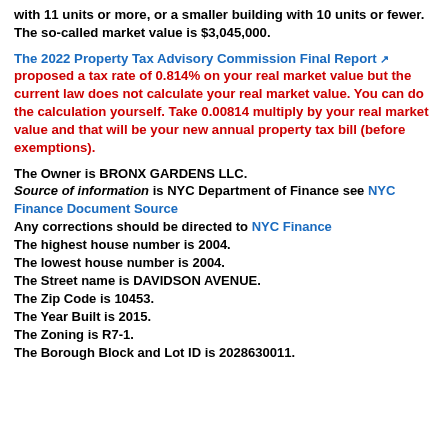with 11 units or more, or a smaller building with 10 units or fewer. The so-called market value is $3,045,000.
The 2022 Property Tax Advisory Commission Final Report [link] proposed a tax rate of 0.814% on your real market value but the current law does not calculate your real market value. You can do the calculation yourself. Take 0.00814 multiply by your real market value and that will be your new annual property tax bill (before exemptions).
The Owner is BRONX GARDENS LLC. Source of information is NYC Department of Finance see NYC Finance Document Source [link] Any corrections should be directed to NYC Finance [link] The highest house number is 2004. The lowest house number is 2004. The Street name is DAVIDSON AVENUE. The Zip Code is 10453. The Year Built is 2015. The Zoning is R7-1. The Borough Block and Lot ID is 2028630011.